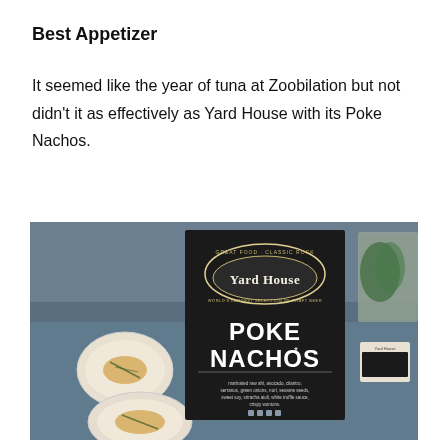Best Appetizer
It seemed like the year of tuna at Zoobilation but not didn't it as effectively as Yard House with its Poke Nachos.
[Figure (photo): A photo of a black Yard House restaurant sign displaying 'POKE NACHOS*' with ingredients listed below, on a table with plates of food in the foreground and a blue tablecloth.]